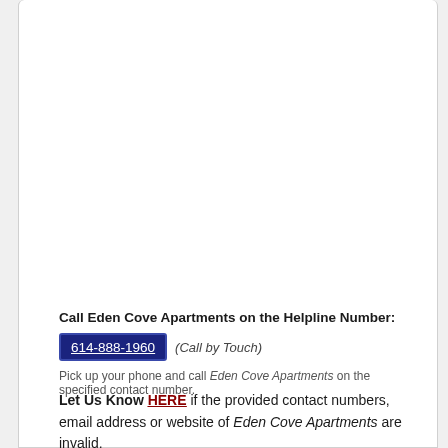Call Eden Cove Apartments on the Helpline Number:
614-888-1960 (Call by Touch)
Pick up your phone and call Eden Cove Apartments on the specified contact number.
Let Us Know HERE if the provided contact numbers, email address or website of Eden Cove Apartments are invalid.